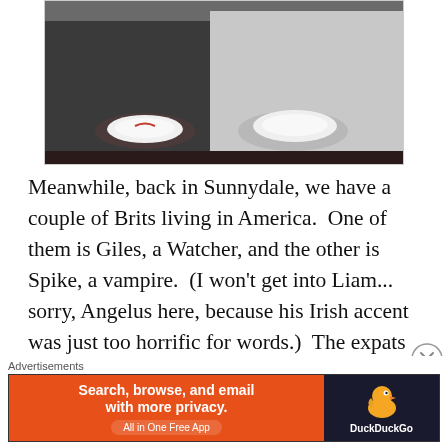[Figure (photo): Two people holding white bowls or plates, one dressed in dark clothing and one in light/white clothing, seated on what appears to be a dark couch.]
Meanwhile, back in Sunnydale, we have a couple of Brits living in America.  One of them is Giles, a Watcher, and the other is Spike, a vampire.  (I won't get into Liam... sorry, Angelus here, because his Irish accent was just too horrific for words.)  The expats in Buffy The Vampire Slayer tend to be much more like the textbook definition of expatriate.  Giles is sent to
[Figure (other): Close button (X in circle) overlay on the right side of page]
Advertisements
[Figure (other): DuckDuckGo advertisement banner: Search, browse, and email with more privacy. All in One Free App. DuckDuckGo logo on dark right panel.]